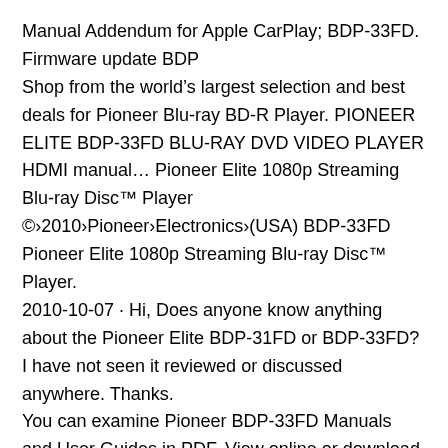Manual Addendum for Apple CarPlay; BDP-33FD. Firmware update BDP
Shop from the world’s largest selection and best deals for Pioneer Blu-ray BD-R Player. PIONEER ELITE BDP-33FD BLU-RAY DVD VIDEO PLAYER HDMI manual… Pioneer Elite 1080p Streaming Blu-ray Disc™ Player ©›2010›Pioneer›Electronics›(USA) BDP-33FD Pioneer Elite 1080p Streaming Blu-ray Disc™ Player.
2010-10-07 · Hi, Does anyone know anything about the Pioneer Elite BDP-31FD or BDP-33FD? I have not seen it reviewed or discussed anywhere. Thanks.
You can examine Pioneer BDP-33FD Manuals and User Guides in PDF. View online or download 1 Manuals for Pioneer BDP-33FD. Besides, …
User manual for the device Pioneer BDP-33FD. Online user manual database